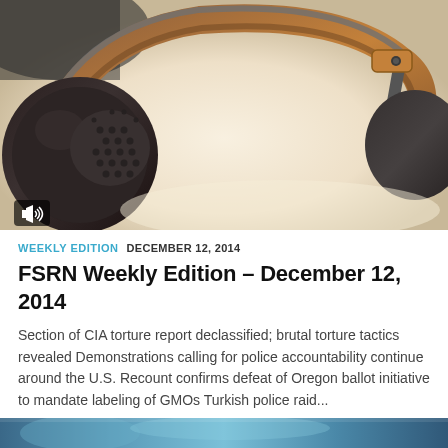[Figure (photo): Close-up photograph of over-ear headphones with dark brown/black ear cups and brown leather headband, placed on a light surface. A speaker/audio icon overlay appears in the bottom-left corner of the image.]
WEEKLY EDITION  DECEMBER 12, 2014
FSRN Weekly Edition – December 12, 2014
Section of CIA torture report declassified; brutal torture tactics revealed Demonstrations calling for police accountability continue around the U.S. Recount confirms defeat of Oregon ballot initiative to mandate labeling of GMOs Turkish police raid...
[Figure (photo): Partial bottom strip of another image, showing blue/teal tones, partially visible at the bottom of the page.]